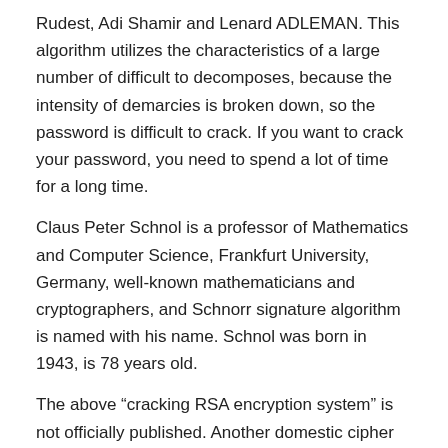Rudest, Adi Shamir and Lenard ADLEMAN. This algorithm utilizes the characteristics of a large number of difficult to decomposes, because the intensity of demarcies is broken down, so the password is difficult to crack. If you want to crack your password, you need to spend a lot of time for a long time.
Claus Peter Schnol is a professor of Mathematics and Computer Science, Frankfurt University, Germany, well-known mathematicians and cryptographers, and Schnorr signature algorithm is named with his name. Schnol was born in 1943, is 78 years old.
The above “cracking RSA encryption system” is not officially published. Another domestic cipher said that some scholars have found some vulnerabilities in the paper. The conclusions of the papers are very difficult, and it may not be too reliable. (Swar) is old. ”